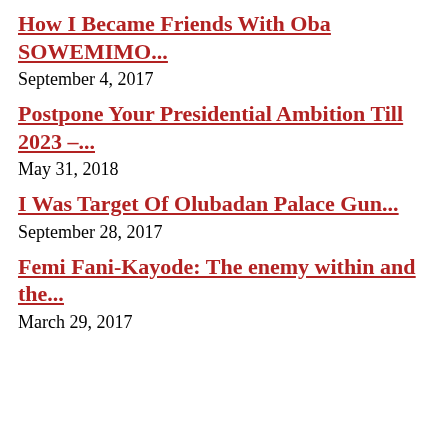How I Became Friends With Oba SOWEMIMO...
September 4, 2017
Postpone Your Presidential Ambition Till 2023 –...
May 31, 2018
I Was Target Of Olubadan Palace Gun...
September 28, 2017
Femi Fani-Kayode: The enemy within and the...
March 29, 2017